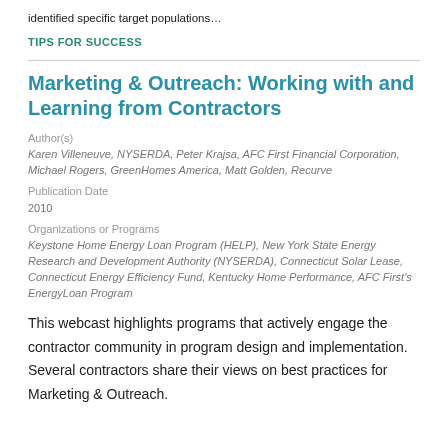identified specific target populations…
TIPS FOR SUCCESS
Marketing & Outreach: Working with and Learning from Contractors
Author(s)
Karen Villeneuve, NYSERDA, Peter Krajsa, AFC First Financial Corporation, Michael Rogers, GreenHomes America, Matt Golden, Recurve
Publication Date
2010
Organizations or Programs
Keystone Home Energy Loan Program (HELP), New York State Energy Research and Development Authority (NYSERDA), Connecticut Solar Lease, Connecticut Energy Efficiency Fund, Kentucky Home Performance, AFC First's EnergyLoan Program
This webcast highlights programs that actively engage the contractor community in program design and implementation. Several contractors share their views on best practices for Marketing & Outreach.